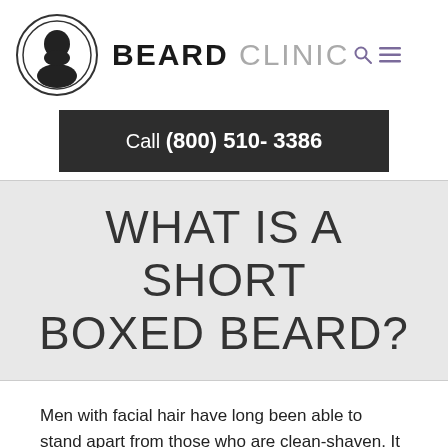[Figure (logo): Beard Clinic logo: circular emblem with silhouette of a bearded man's profile, beside the text BEARD CLINIC with navigation icons (search, menu)]
Call (800) 510- 3386
WHAT IS A SHORT BOXED BEARD?
Men with facial hair have long been able to stand apart from those who are clean-shaven. It has long been considered by many cultures as a representation of